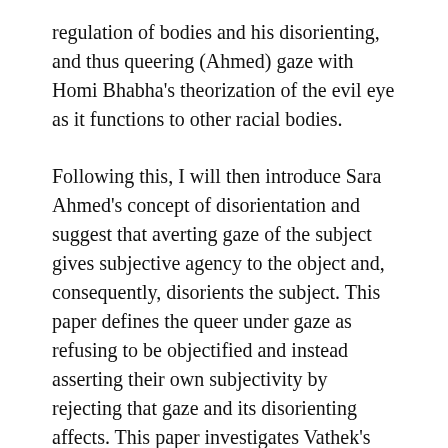regulation of bodies and his disorienting, and thus queering (Ahmed) gaze with Homi Bhabha's theorization of the evil eye as it functions to other racial bodies.
Following this, I will then introduce Sara Ahmed's concept of disorientation and suggest that averting gaze of the subject gives subjective agency to the object and, consequently, disorients the subject. This paper defines the queer under gaze as refusing to be objectified and instead asserting their own subjectivity by rejecting that gaze and its disorienting affects. This paper investigates Vathek's failure to interpret the Giaour, the Giaour returning Vathek's gaze by staring back